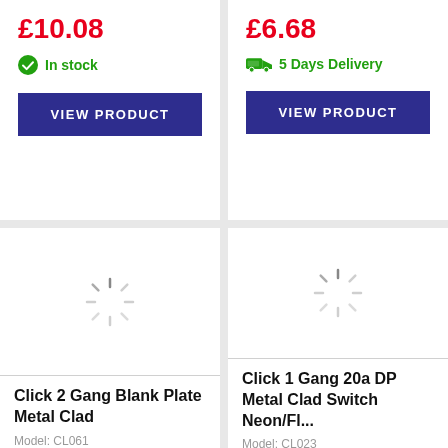£10.08
In stock
VIEW PRODUCT
£6.68
5 Days Delivery
VIEW PRODUCT
[Figure (illustration): Loading spinner icon (circular dashed ring) representing a product image loading]
Click 2 Gang Blank Plate Metal Clad
Model: CL061
[Figure (illustration): Loading spinner icon (circular dashed ring) representing a product image loading]
Click 1 Gang 20a DP Metal Clad Switch Neon/Fl...
Model: CL023